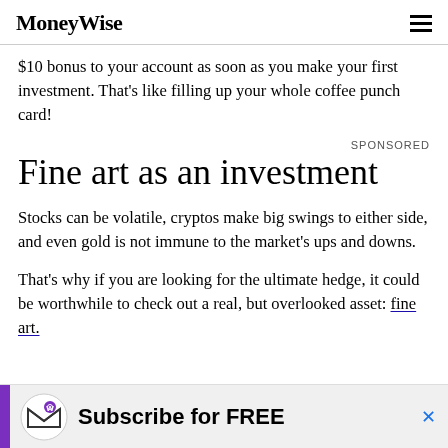MoneyWise
$10 bonus to your account as soon as you make your first investment. That's like filling up your whole coffee punch card!
SPONSORED
Fine art as an investment
Stocks can be volatile, cryptos make big swings to either side, and even gold is not immune to the market's ups and downs.
That's why if you are looking for the ultimate hedge, it could be worthwhile to check out a real, but overlooked asset: fine art.
[Figure (other): Advertisement banner: MoneyWise Subscribe for FREE with envelope icon and purple sidebar]